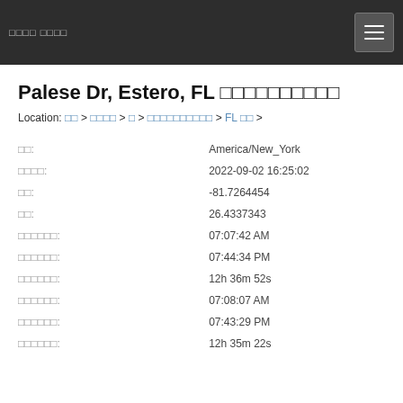□□□□ □□□□ [menu icon]
Palese Dr, Estero, FL □□□□□□□□□□
Location: □□ > □□□□ > □ > □□□□□□□□□□ > FL □□ >
| Label | Value |
| --- | --- |
| □□: | America/New_York |
| □□□□: | 2022-09-02 16:25:02 |
| □□: | -81.7264454 |
| □□: | 26.4337343 |
| □□□□□□: | 07:07:42 AM |
| □□□□□□: | 07:44:34 PM |
| □□□□□□: | 12h 36m 52s |
| □□□□□□: | 07:08:07 AM |
| □□□□□□: | 07:43:29 PM |
| □□□□□□: | 12h 35m 22s |